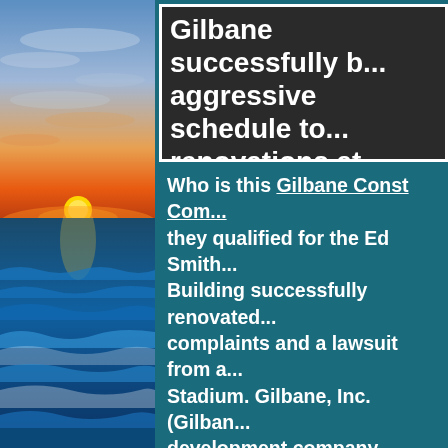[Figure (photo): Sunset over ocean with colorful sky (orange, pink, blue) and waves on beach — left column photo]
[Figure (photo): Photo of people at what appears to be a construction/stadium event with white bold text overlay reading: Gilbane successfully b... aggressive schedule to... renovations at Fenway...]
Who is this Gilbane Const Com... they qualified for the Ed Smith... Building successfully renovated... complaints and a lawsuit from a... Stadium. Gilbane, Inc. (Gilban... development company based in... than 45 office locations worldw... Building Company and Gilban... sixth-generation, family-owned... even become a Town until 1902...